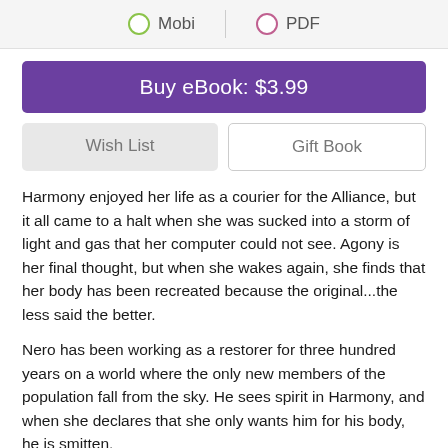[Figure (screenshot): Format selector bar with Mobi (green radio) and PDF (pink radio) options separated by a vertical divider]
Buy eBook: $3.99
Wish List
Gift Book
Harmony enjoyed her life as a courier for the Alliance, but it all came to a halt when she was sucked into a storm of light and gas that her computer could not see. Agony is her final thought, but when she wakes again, she finds that her body has been recreated because the original...the less said the better.
Nero has been working as a restorer for three hundred years on a world where the only new members of the population fall from the sky. He sees spirit in Harmony, and when she declares that she only wants him for his body, he is smitten.
They face the stars that brought them together and work in their different ways to bring their community into harmony with a world as trapped as they are.